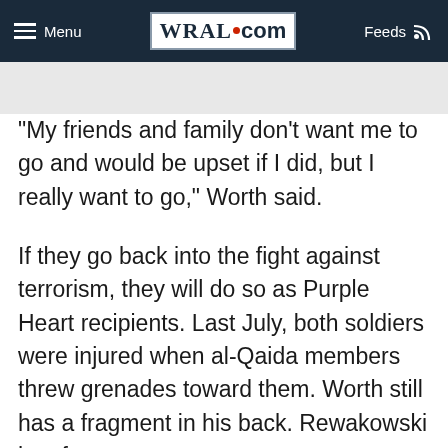Menu | WRAL.com | Feeds
"My friends and family don't want me to go and would be upset if I did, but I really want to go," Worth said.
If they go back into the fight against terrorism, they will do so as Purple Heart recipients. Last July, both soldiers were injured when al-Qaida members threw grenades toward them. Worth still has a fragment in his back. Rewakowski has four